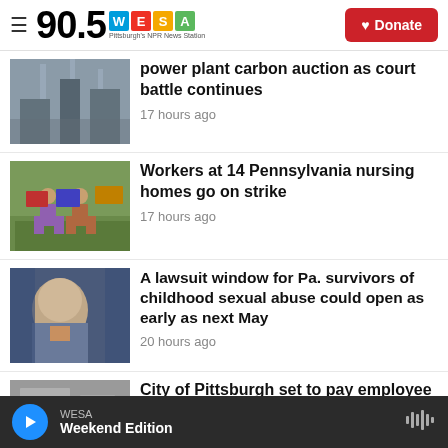90.5 WESA Pittsburgh's NPR News Station | Donate
power plant carbon auction as court battle continues
17 hours ago
Workers at 14 Pennsylvania nursing homes go on strike
17 hours ago
A lawsuit window for Pa. survivors of childhood sexual abuse could open as early as next May
20 hours ago
City of Pittsburgh set to pay employee $450,000 in discrimination settlement
WESA | Weekend Edition